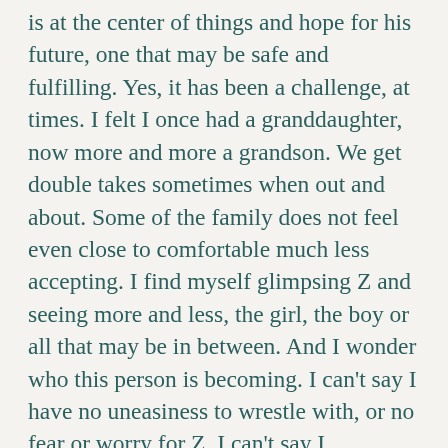is at the center of things and hope for his future, one that may be safe and fulfilling. Yes, it has been a challenge, at times. I felt I once had a granddaughter, now more and more a grandson. We get double takes sometimes when out and about. Some of the family does not feel even close to comfortable much less accepting. I find myself glimpsing Z and seeing more and less, the girl, the boy or all that may be in between. And I wonder who this person is becoming. I can't say I have no uneasiness to wrestle with, or no fear or worry for Z. I can't say I understand, that it all makes sense to me with no further thought necessary. Because I have been at home as a woman only so cannot begin to imagine, not really,